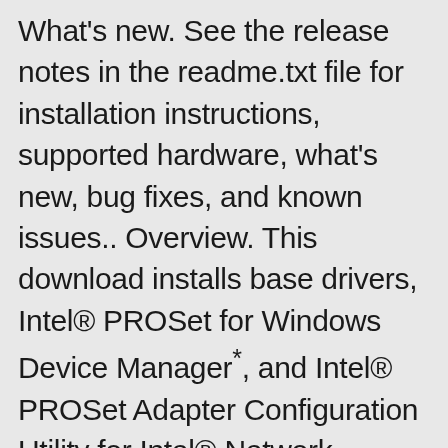What's new. See the release notes in the readme.txt file for installation instructions, supported hardware, what's new, bug fixes, and known issues.. Overview. This download installs base drivers, Intel® PROSet for Windows Device Manager*, and Intel® PROSet Adapter Configuration Utility for Intel® Network Adapters with Windows 10.